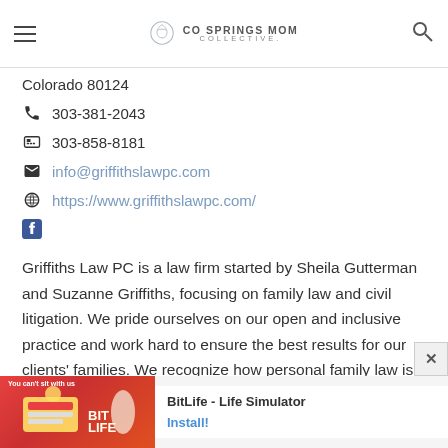CO SPRINGS MOM COLLECTIVE
Colorado 80124
303-381-2043
303-858-8181
info@griffithslawpc.com
https://www.griffithslawpc.com/
Griffiths Law PC is a law firm started by Sheila Gutterman and Suzanne Griffiths, focusing on family law and civil litigation. We pride ourselves on our open and inclusive practice and work hard to ensure the best results for our clients' families. We recognize how personal family law is, which is why we treat every case as though we were handling our own family